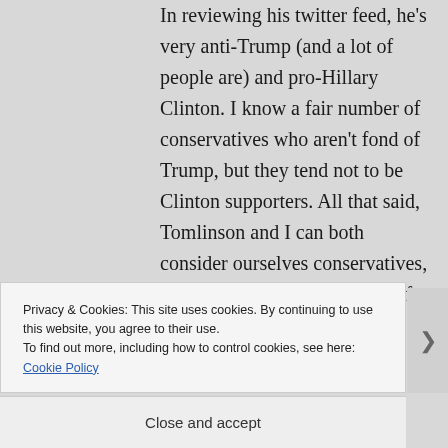In reviewing his twitter feed, he's very anti-Trump (and a lot of people are) and pro-Hillary Clinton. I know a fair number of conservatives who aren't fond of Trump, but they tend not to be Clinton supporters. All that said, Tomlinson and I can both consider ourselves conservatives, but what that means for each of us is probably
Privacy & Cookies: This site uses cookies. By continuing to use this website, you agree to their use.
To find out more, including how to control cookies, see here: Cookie Policy
Close and accept